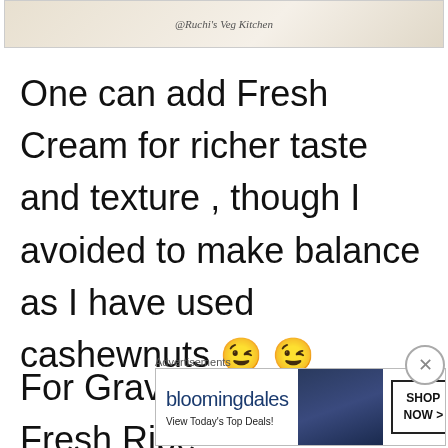[Figure (photo): Partial food photo with watermark text '@Ruchi's Veg Kitchen' visible at top]
One can add Fresh Cream for richer taste and texture , though I avoided to make balance as I have used cashewnuts 😉 😉
For Gravy I have used Fresh Ripe
Advertisements
[Figure (screenshot): Bloomingdale's advertisement banner: 'bloomingdales - View Today's Top Deals! SHOP NOW >']